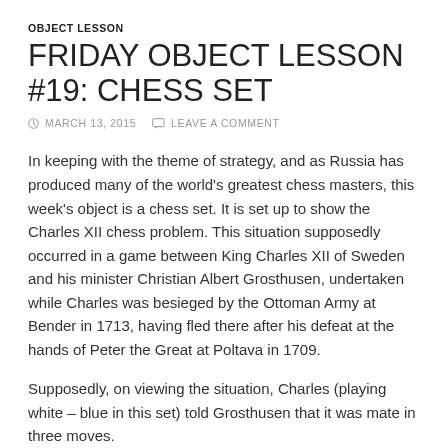OBJECT LESSON
FRIDAY OBJECT LESSON #19: CHESS SET
MARCH 13, 2015   LEAVE A COMMENT
In keeping with the theme of strategy, and as Russia has produced many of the world's greatest chess masters, this week's object is a chess set. It is set up to show the Charles XII chess problem. This situation supposedly occurred in a game between King Charles XII of Sweden and his minister Christian Albert Grosthusen, undertaken while Charles was besieged by the Ottoman Army at Bender in 1713, having fled there after his defeat at the hands of Peter the Great at Poltava in 1709.
Supposedly, on viewing the situation, Charles (playing white – blue in this set) told Grosthusen that it was mate in three moves.